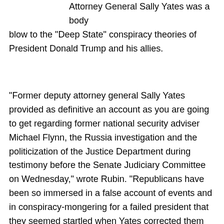outlined why the testimony of former acting Attorney General Sally Yates was a body blow to the "Deep State" conspiracy theories of President Donald Trump and his allies.
"Former deputy attorney general Sally Yates provided as definitive an account as you are going to get regarding former national security adviser Michael Flynn, the Russia investigation and the politicization of the Justice Department during testimony before the Senate Judiciary Committee on Wednesday," wrote Rubin. "Republicans have been so immersed in a false account of events and in conspiracy-mongering for a failed president that they seemed startled when Yates corrected them again and again."